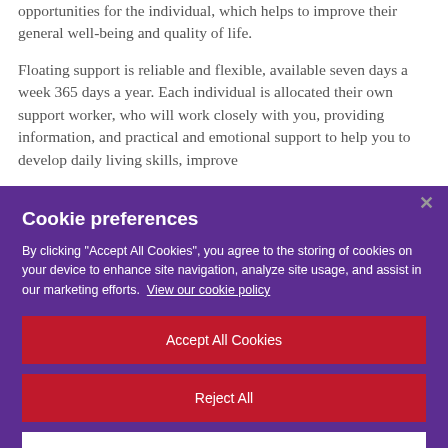opportunities for the individual, which helps to improve their general well-being and quality of life.
Floating support is reliable and flexible, available seven days a week 365 days a year. Each individual is allocated their own support worker, who will work closely with you, providing information, and practical and emotional support to help you to develop daily living skills, improve
[Figure (screenshot): Cookie preferences modal dialog with purple background. Contains title 'Cookie preferences', body text about cookie consent, a link 'View our cookie policy', and three buttons: 'Accept All Cookies' (red), 'Reject All' (red), 'Cookies Settings' (white with red text). A close X button is shown in the top-right corner.]